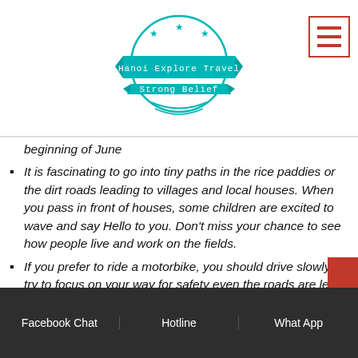[Figure (logo): Hanoi Explore Travel - Strong Belief logo with teal ribbon banner and stars in circle]
beginning of June
It is fascinating to go into tiny paths in the rice paddies or the dirt roads leading to villages and local houses. When you pass in front of houses, some children are excited to wave and say Hello to you. Don't miss your chance to see how people live and work on the fields.
If you prefer to ride a motorbike, you should drive slowly, try to focus on your way for safety even the roads are less crowded
Facebook Chat | Hotline | What App